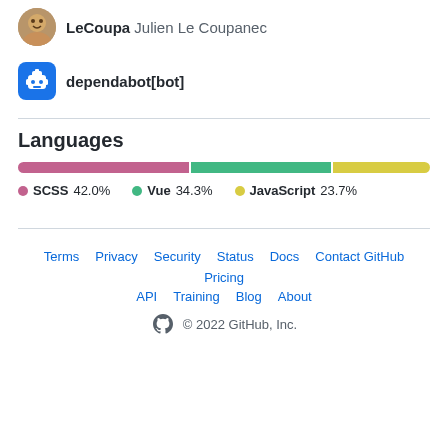LeCoupa Julien Le Coupanec
dependabot[bot]
Languages
[Figure (stacked-bar-chart): Languages]
Terms · Privacy · Security · Status · Docs · Contact GitHub · Pricing · API · Training · Blog · About · © 2022 GitHub, Inc.